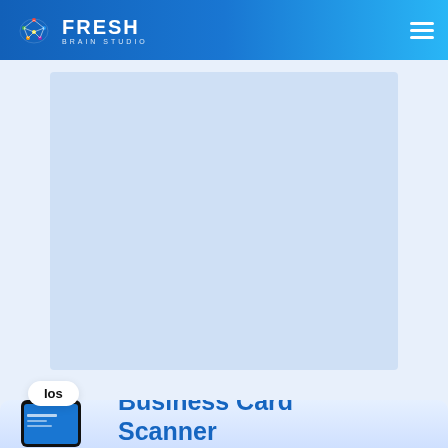Fresh Brain Studio — navigation bar with logo and hamburger menu
[Figure (other): Light blue rectangular ad/content placeholder block]
Ios
Business Card Scanner